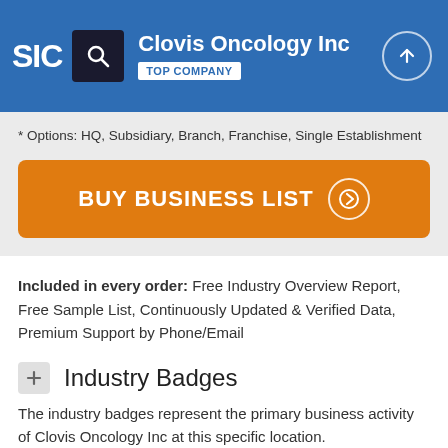SIC | Clovis Oncology Inc | TOP COMPANY
* Options: HQ, Subsidiary, Branch, Franchise, Single Establishment
[Figure (other): Orange 'BUY BUSINESS LIST' button with right arrow circle]
Included in every order: Free Industry Overview Report, Free Sample List, Continuously Updated & Verified Data, Premium Support by Phone/Email
Industry Badges
The industry badges represent the primary business activity of Clovis Oncology Inc at this specific location.